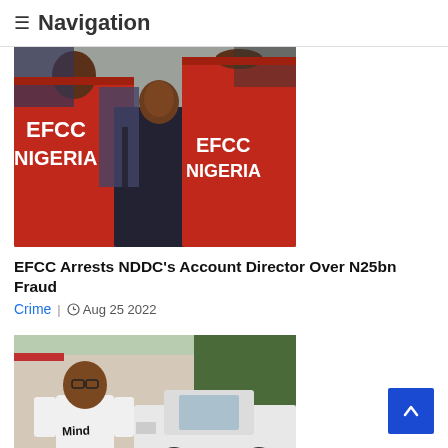≡ Navigation
[Figure (photo): Group of people wearing red EFCC Nigeria vests, with individuals in suits visible in the center]
EFCC Arrests NDDC's Account Director Over N25bn Fraud
Crime | Aug 25 2022
[Figure (photo): Young man in a white t-shirt with 'Mind' text, standing in front of a white car outdoors]